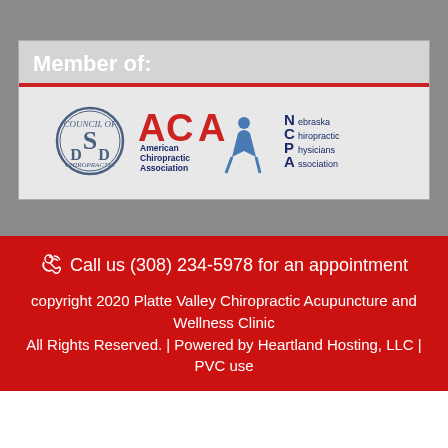Member of:
[Figure (logo): Logos of three chiropractic associations: SCPD, American Chiropractic Association (ACA), and Nebraska Chiropractic Physicians Association (NCPA)]
Call us (308) 234-5978 for an appointment
copyright 2020 Platte Valley Chiropractic Acupuncture and Wellness Clinic
All Rights Reserved. | Powered by Heartland Hosting, LLC | PVC use